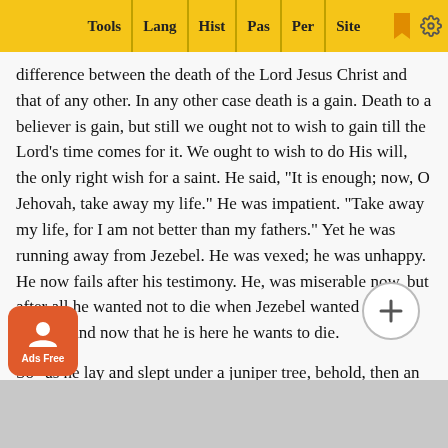Tools | Lang | Hist | Pas | Per | Site
difference between the death of the Lord Jesus Christ and that of any other. In any other case death is a gain. Death to a believer is gain, but still we ought not to wish to gain till the Lord's time comes for it. We ought to wish to do His will, the only right wish for a saint. He said, "It is enough; now, O Jehovah, take away my life." He was impatient. "Take away my life, for I am not better than my fathers." Yet he was running away from Jezebel. He was vexed; he was unhappy. He now fails after his testimony. He, was miserable now, but after all he wanted not to die when Jezebel wanted to take his life, and now that he is here he wants to die.
So "as he lay and slept under a juniper tree, behold, then an angel touched him, and said unto him, Arise and eat. And he looked, and, behold, there was a cake baken on the coals, and a cruse of water at his head. And he did eat and drink, and laid him down again. And the angel of the Lord came again the second time, and touched him, and said, Arise and eat; because the journey is too great for thee." And he rose up, and